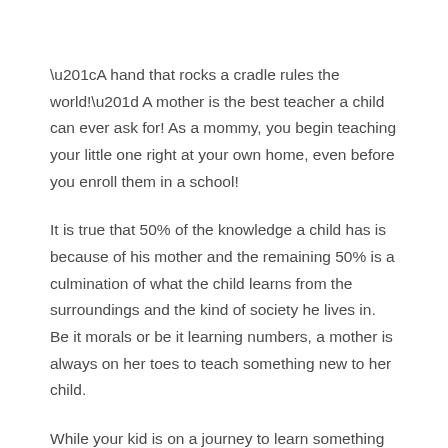“A hand that rocks a cradle rules the world!” A mother is the best teacher a child can ever ask for! As a mommy, you begin teaching your little one right at your own home, even before you enroll them in a school!
It is true that 50% of the knowledge a child has is because of his mother and the remaining 50% is a culmination of what the child learns from the surroundings and the kind of society he lives in. Be it morals or be it learning numbers, a mother is always on her toes to teach something new to her child.
While your kid is on a journey to learn something new every day, here’s a list of the learning essentials you should buy for your child’s learning development.